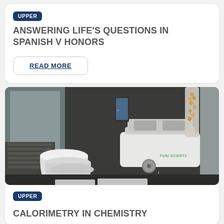UPPER
ANSWERING LIFE'S QUESTIONS IN SPANISH V HONORS
READ MORE
[Figure (photo): Laboratory equipment including white styrofoam cups and a white hot plate/stirrer device on a dark table surface, with other lab equipment visible in the background.]
UPPER
CALORIMETRY IN CHEMISTRY